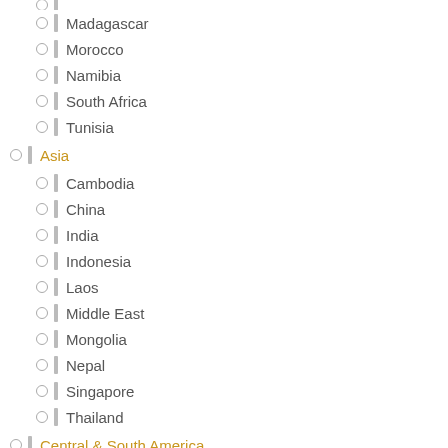Madagascar
Morocco
Namibia
South Africa
Tunisia
Asia
Cambodia
China
India
Indonesia
Laos
Middle East
Mongolia
Nepal
Singapore
Thailand
Central & South America
Argentina